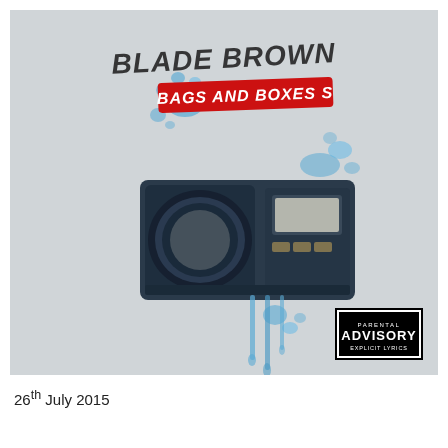[Figure (illustration): Album cover art for Blade Brown – Bags and Boxes S. Features a blue boombox/cassette player painted in a graffiti/street-art style with blue paint splatter on a light grey background. Artist name 'BLADE BROWN' in stylized graffiti lettering at top, album title 'BAGS AND BOXES S' on a red banner below it. Parental Advisory Explicit Lyrics label in bottom right corner.]
26th July 2015